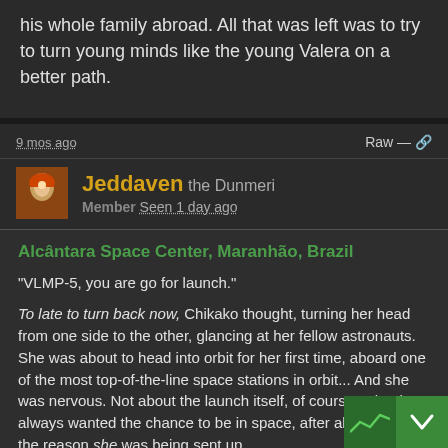his whole family abroad. All that was left was to try to turn young minds like the young Valera on a better path.
9 mos ago
Raw —
Jeddaven the Dunmeri
Member Seen 1 day ago
Alcântara Space Center, Maranhão, Brazil
"VLMP-5, you are go for launch."
To late to turn back now, Chikako thought, turning her head from one side to the other, glancing at her fellow astronauts. She was about to head into orbit for her first time, aboard one of the most top-of-the-line space stations in orbit... And she was nervous. Not about the launch itself, of course - she'd always wanted the chance to be in space, after all - but about the reason she was being sent up.